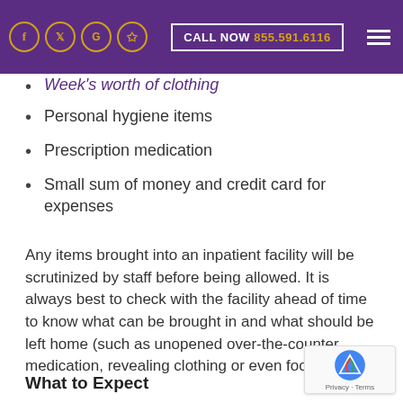CALL NOW 855.591.6116
Week's worth of clothing
Personal hygiene items
Prescription medication
Small sum of money and credit card for expenses
Any items brought into an inpatient facility will be scrutinized by staff before being allowed. It is always best to check with the facility ahead of time to know what can be brought in and what should be left home (such as unopened over-the-counter medication, revealing clothing or even food).
What to Expect